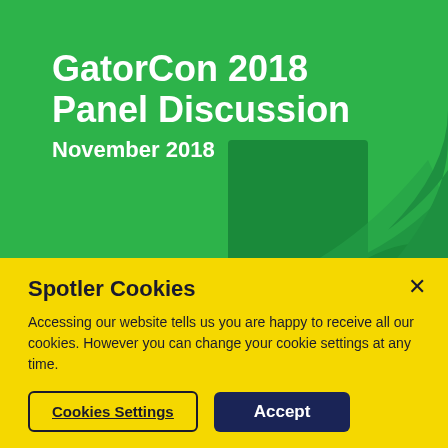[Figure (illustration): Green background banner with GatorCon 2018 branding and a decorative dark green gator/logo shape in the bottom right corner]
GatorCon 2018 Panel Discussion
November 2018
Spotler Cookies
Accessing our website tells us you are happy to receive all our cookies. However you can change your cookie settings at any time.
Cookies Settings
Accept